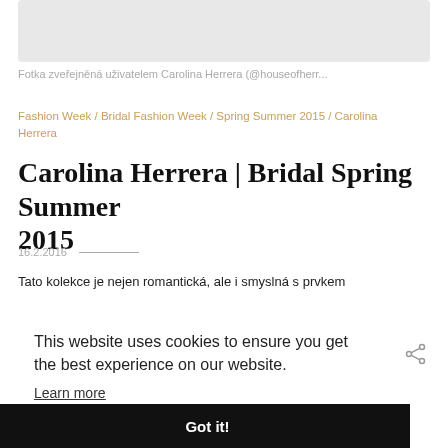[Figure (photo): Gray placeholder image area at top of page]
Fotka zveřejněná uživatelem Carolina Herrera (@houseofherr...
Fashion Week / Bridal Fashion Week / Spring Summer 2015 / Carolina Herrera
Carolina Herrera | Bridal Spring Summer 2015
16.2.2016
Tato kolekce je nejen romantická, ale i smyslná s prvkem
This website uses cookies to ensure you get the best experience on our website.
Learn more
Got it!